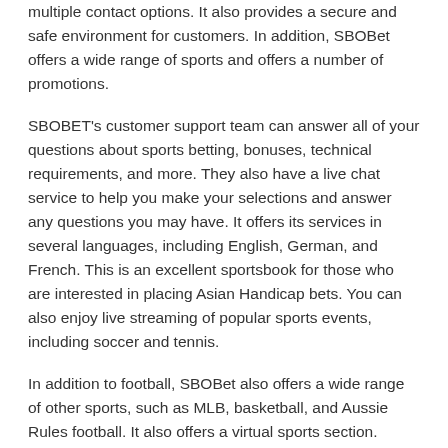multiple contact options. It also provides a secure and safe environment for customers. In addition, SBOBet offers a wide range of sports and offers a number of promotions.
SBOBET's customer support team can answer all of your questions about sports betting, bonuses, technical requirements, and more. They also have a live chat service to help you make your selections and answer any questions you may have. It offers its services in several languages, including English, German, and French. This is an excellent sportsbook for those who are interested in placing Asian Handicap bets. You can also enjoy live streaming of popular sports events, including soccer and tennis.
In addition to football, SBOBet also offers a wide range of other sports, such as MLB, basketball, and Aussie Rules football. It also offers a virtual sports section. SBOBet is also a good choice for punters who enjoy betting on basketball. However, the NFL betting section was not available when I reviewed it during the NFL offseason. The Asian markets heavily support baseball and are therefore highly vested in this sport.
When choosing a sportsbook, it's vital to determine the legality of